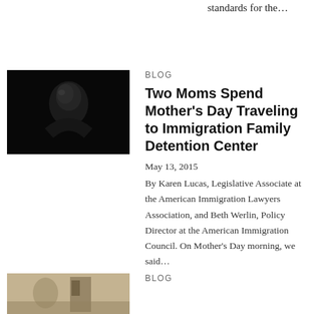standards for the…
BLOG
Two Moms Spend Mother's Day Traveling to Immigration Family Detention Center
May 13, 2015
By Karen Lucas, Legislative Associate at the American Immigration Lawyers Association, and Beth Werlin, Policy Director at the American Immigration Council. On Mother's Day morning, we said…
[Figure (photo): Dark black and white photo of a person in shadow]
BLOG
[Figure (photo): Sepia-toned photo of a figure near a doorway]